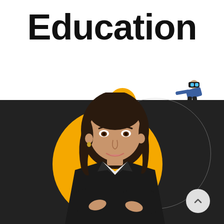Education
[Figure (illustration): Education branded page with large bold 'Education' title at top on white background, dark section below with a woman in black blazer with arms crossed posed in front of a large yellow/orange circle, a thin arc circle outline, a small orange circle at top of dark section, a small VR headset person illustration in upper right, and a light grey scroll-up arrow button in bottom right corner.]